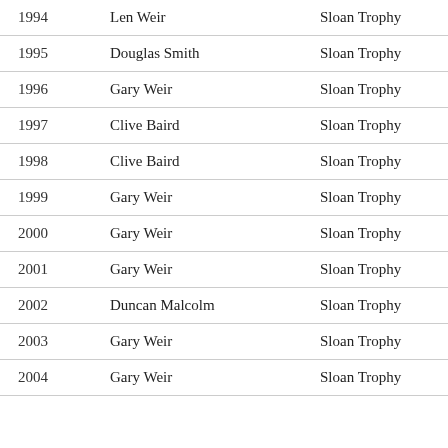| Year | Name | Trophy |
| --- | --- | --- |
| 1994 | Len Weir | Sloan Trophy |
| 1995 | Douglas Smith | Sloan Trophy |
| 1996 | Gary Weir | Sloan Trophy |
| 1997 | Clive Baird | Sloan Trophy |
| 1998 | Clive Baird | Sloan Trophy |
| 1999 | Gary Weir | Sloan Trophy |
| 2000 | Gary Weir | Sloan Trophy |
| 2001 | Gary Weir | Sloan Trophy |
| 2002 | Duncan Malcolm | Sloan Trophy |
| 2003 | Gary Weir | Sloan Trophy |
| 2004 | Gary Weir | Sloan Trophy |